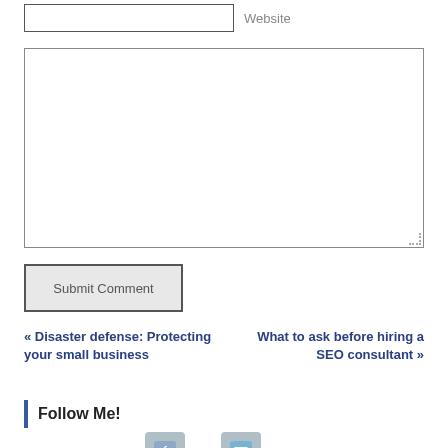Website
Submit Comment
« Disaster defense: Protecting your small business
What to ask before hiring a SEO consultant »
Follow Me!